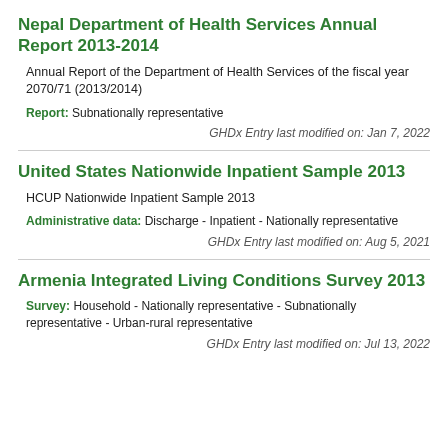Nepal Department of Health Services Annual Report 2013-2014
Annual Report of the Department of Health Services of the fiscal year 2070/71 (2013/2014)
Report: Subnationally representative
GHDx Entry last modified on: Jan 7, 2022
United States Nationwide Inpatient Sample 2013
HCUP Nationwide Inpatient Sample 2013
Administrative data: Discharge - Inpatient - Nationally representative
GHDx Entry last modified on: Aug 5, 2021
Armenia Integrated Living Conditions Survey 2013
Survey: Household - Nationally representative - Subnationally representative - Urban-rural representative
GHDx Entry last modified on: Jul 13, 2022